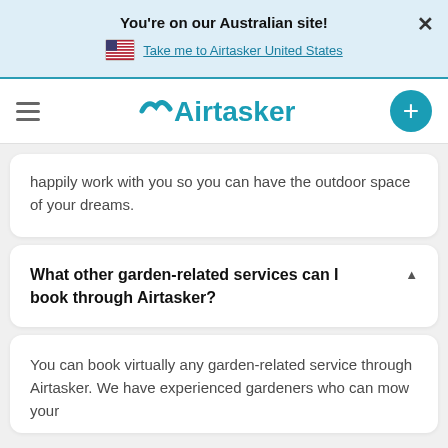You're on our Australian site!
Take me to Airtasker United States
[Figure (logo): Airtasker logo with hamburger menu and + post button]
happily work with you so you can have the outdoor space of your dreams.
What other garden-related services can I book through Airtasker?
You can book virtually any garden-related service through Airtasker. We have experienced gardeners who can mow your